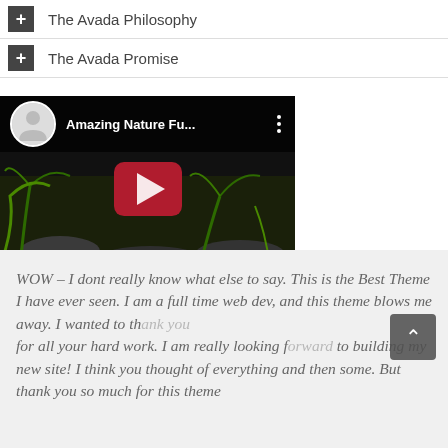+ The Avada Philosophy
+ The Avada Promise
[Figure (screenshot): YouTube video thumbnail for 'Amazing Nature Fu...' showing a dark nature background with a red play button and channel avatar in the top bar]
WOW – I dont really know what else to say. This is the Best Theme I have ever seen. I am a full time web dev, and this theme blows me away. I wanted to thank you for all your hard work. I am really looking forward to building my new site! I think you thought of everything and then some. But thank you so much for this theme